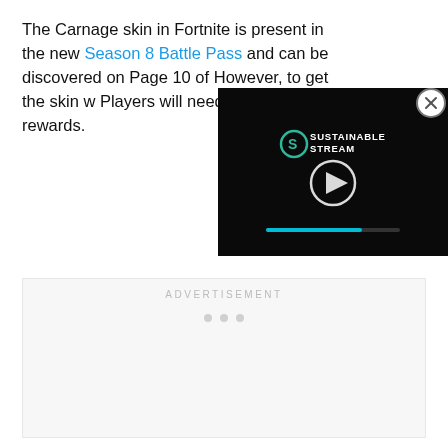The Carnage skin in Fortnite is present in the new Season 8 Battle Pass and can be discovered on Page 10 of However, to get the skin w Players will need to reach rewards.
[Figure (screenshot): Embedded video player overlay showing 'Sustainable Stream' logo with play button and progress bar, on dark background]
ADVERTISEMENT